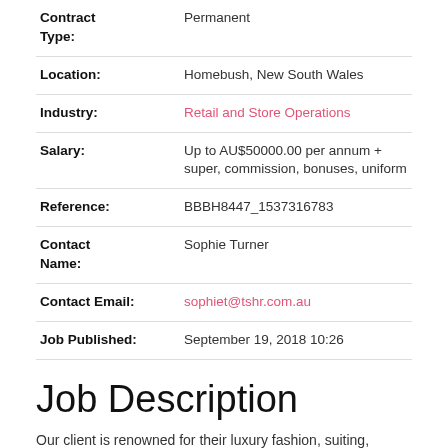| Contract Type: | Permanent |
| Location: | Homebush, New South Wales |
| Industry: | Retail and Store Operations |
| Salary: | Up to AU$50000.00 per annum + super, commission, bonuses, uniform |
| Reference: | BBBH8447_1537316783 |
| Contact Name: | Sophie Turner |
| Contact Email: | sophiet@tshr.com.au |
| Job Published: | September 19, 2018 10:26 |
Job Description
Our client is renowned for their luxury fashion, suiting, leather goods, footwear and accessories and are recruiting for an